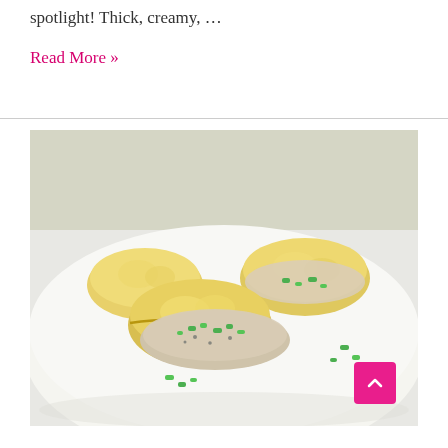spotlight! Thick, creamy, …
Read More »
[Figure (photo): Close-up photo of golden biscuits topped with creamy white pepper gravy and chopped green onions, served on a white plate]